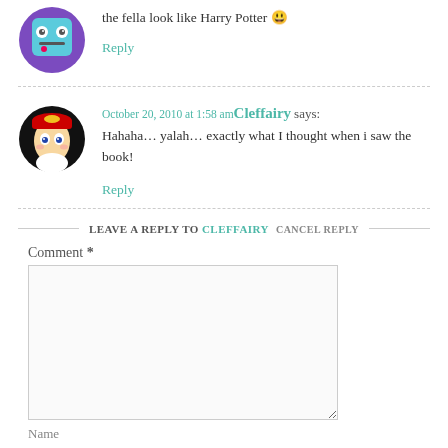the fella look like Harry Potter 😃
Reply
October 20, 2010 at 1:58 am Cleffairy says:
Hahaha… yalah… exactly what I thought when i saw the book!
Reply
LEAVE A REPLY TO CLEFFAIRY CANCEL REPLY
Comment *
Name